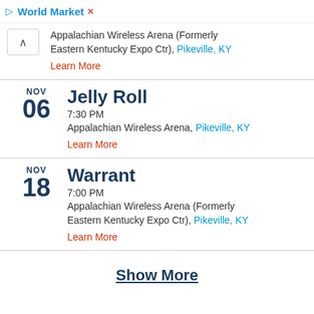World Market (ad bar, partially visible)
Appalachian Wireless Arena (Formerly Eastern Kentucky Expo Ctr), Pikeville, KY
Learn More
NOV 06 — Jelly Roll
7:30 PM
Appalachian Wireless Arena, Pikeville, KY
Learn More
NOV 18 — Warrant
7:00 PM
Appalachian Wireless Arena (Formerly Eastern Kentucky Expo Ctr), Pikeville, KY
Learn More
Show More